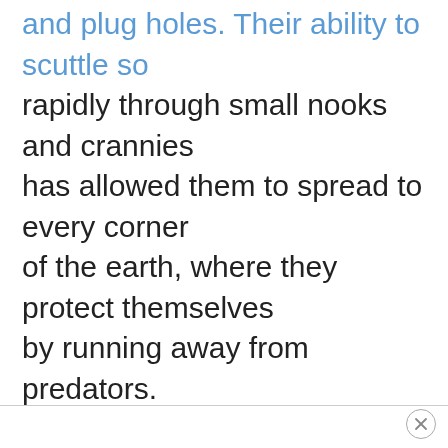and plug holes. Their ability to scuttle so rapidly through small nooks and crannies has allowed them to spread to every corner of the earth, where they protect themselves by running away from predators.
[close button]